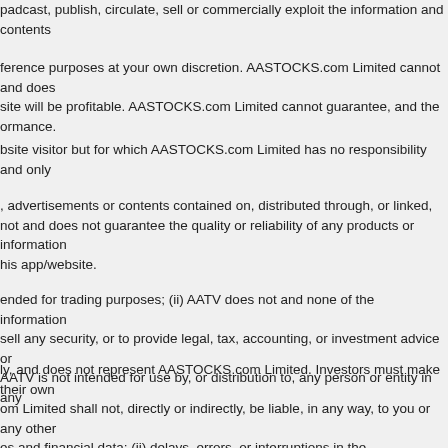padcast, publish, circulate, sell or commercially exploit the information and contents
ference purposes at your own discretion. AASTOCKS.com Limited cannot and does site will be profitable. AASTOCKS.com Limited cannot guarantee, and the ormance.
bsite visitor but for which AASTOCKS.com Limited has no responsibility and only
, advertisements or contents contained on, distributed through, or linked, not and does not guarantee the quality or reliability of any products or information his app/website.
ended for trading purposes; (ii) AATV does not and none of the information sell any security, or to provide legal, tax, accounting, or investment advice or AATV is not intended for use by, or distribution to, any person or entity in any
ly, and does not represent AASTOCKS.com Limited. Investors must make their own om Limited shall not, directly or indirectly, be liable, in any way, to you or any other es and financial data; (ii) delays, errors, or interruptions in the transmission or nonperformance.
s online at this app/website. You are responsible for reviewing regularly information changes are posted constitutes your acceptance of this Agreement as modified by
of the People's Republic of China ("Hong Kong") and you agree to submit to the